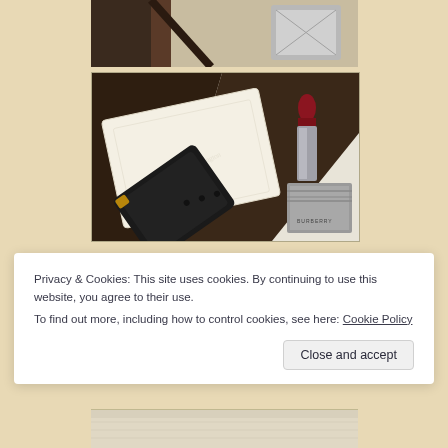[Figure (photo): Partial top photo showing what appears to be a watch or luxury item with dark brown and silver tones against a beige background]
[Figure (photo): Photo of fashion/luxury accessories: a black watch strap, a white embossed leather wallet/clutch, a red Burberry lipstick, and a grey Burberry lipstick box, arranged on a light background with brown box framing]
Privacy & Cookies: This site uses cookies. By continuing to use this website, you agree to their use.
To find out more, including how to control cookies, see here: Cookie Policy
Close and accept
[Figure (photo): Partial bottom photo showing a light-colored item, likely another accessory or wallet]